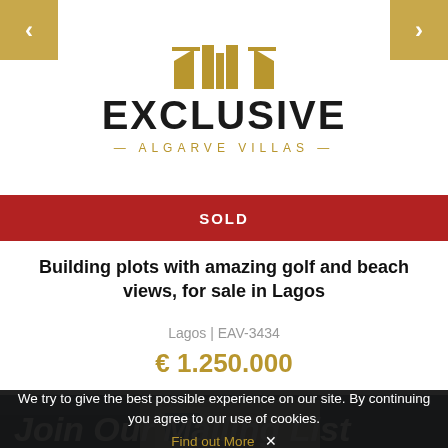[Figure (logo): Exclusive Algarve Villas logo with geometric building icon, brand name in black bold text and gold subtitle with dashes]
SOLD
Building plots with amazing golf and beach views, for sale in Lagos
Lagos | EAV-3434
€ 1.250.000
[Figure (photo): Photo of a villa exterior with white doors/windows at dusk]
Join Our Mailing List
We try to give the best possible experience on our site. By continuing you agree to our use of cookies.
Find out More  ✕